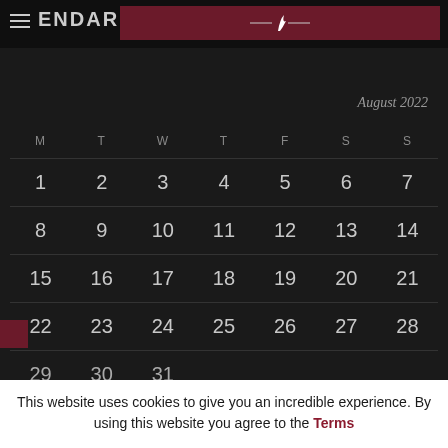CALENDAR
August 2022
| M | T | W | T | F | S | S |
| --- | --- | --- | --- | --- | --- | --- |
| 1 | 2 | 3 | 4 | 5 | 6 | 7 |
| 8 | 9 | 10 | 11 | 12 | 13 | 14 |
| 15 | 16 | 17 | 18 | 19 | 20 | 21 |
| 22 | 23 | 24 | 25 | 26 | 27 | 28 |
| 29 | 30 | 31 |  |  |  |  |
This website uses cookies to give you an incredible experience. By using this website you agree to the Terms